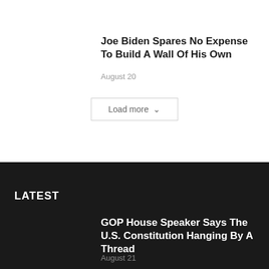Joe Biden Spares No Expense To Build A Wall Of His Own
August 20
Load more
LATEST
GOP House Speaker Says The U.S. Constitution Hanging By A Thread
August 21